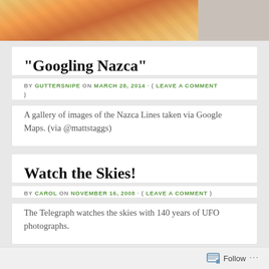[Figure (photo): Top of page showing a partial colorful illustration/photo, cropped at the top]
“Googling Nazca”
BY GUTTERSNIPE ON MARCH 28, 2014 · ( LEAVE A COMMENT )
A gallery of images of the Nazca Lines taken via Google Maps. (via @mattstaggs)
Watch the Skies!
BY CAROL ON NOVEMBER 16, 2008 · ( LEAVE A COMMENT )
The Telegraph watches the skies with 140 years of UFO photographs.
The Cultural Gutter is a website dedicated to thoughtful writing about disreputable art. The site is updated every Thursday afternoon. Carol
Follow …